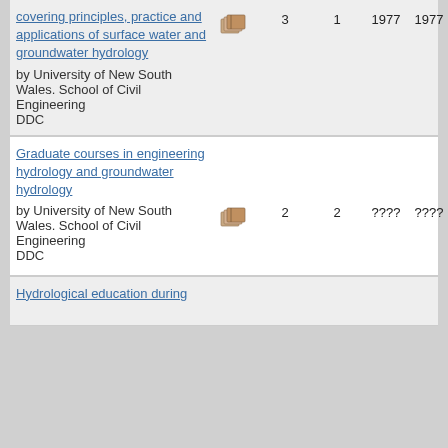| Title/Author | Icon | Editions | Works | Year1 | Year2 |
| --- | --- | --- | --- | --- | --- |
| covering principles, practice and applications of surface water and groundwater hydrology
by University of New South Wales. School of Civil Engineering DDC | [icon] | 3 | 1 | 1977 | 1977 |
| Graduate courses in engineering hydrology and groundwater hydrology
by University of New South Wales. School of Civil Engineering DDC | [icon] | 2 | 2 | ???? | ???? |
| Hydrological education during ... |  |  |  |  |  |